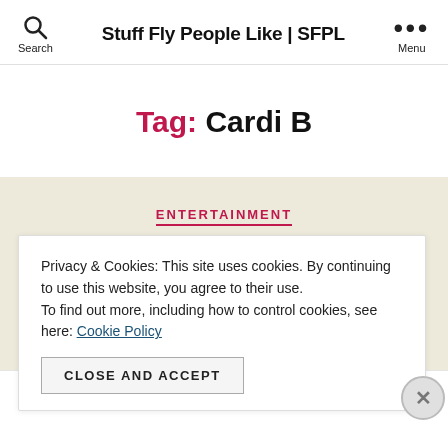Stuff Fly People Like | SFPL
Tag: Cardi B
ENTERTAINMENT
Privacy & Cookies: This site uses cookies. By continuing to use this website, you agree to their use. To find out more, including how to control cookies, see here: Cookie Policy
CLOSE AND ACCEPT